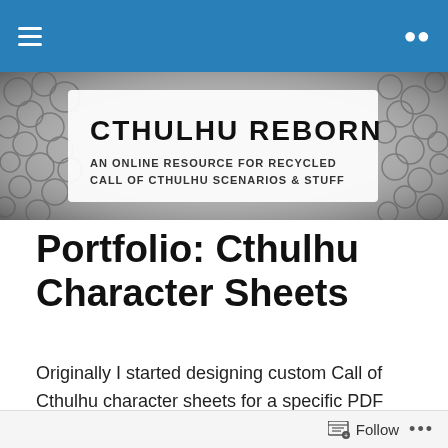Navigation bar with hamburger menu and search icon
[Figure (illustration): Cthulhu Reborn website banner with tentacle/scale background art. Text reads: CTHULHU REBORN — AN ONLINE RESOURCE FOR RECYCLED CALL OF CTHULHU SCENARIOS & STUFF]
Portfolio: Cthulhu Character Sheets
Originally I started designing custom Call of Cthulhu character sheets for a specific PDF scenario I was designing (still in the works). That adventure called for 1890s Investigators who were more of the artistic and bohemian bent than the pipe-puffing detective bent. I
Follow ...